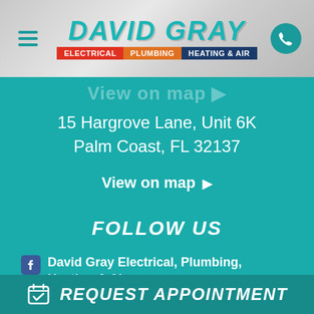[Figure (logo): David Gray Electrical Plumbing Heating & Air logo with teal text and colored service badges]
View on map ▶
15 Hargrove Lane, Unit 6K
Palm Coast, FL 32137
View on map ▶
FOLLOW US
David Gray Electrical, Plumbing, Heating & Air ▶
REQUEST APPOINTMENT